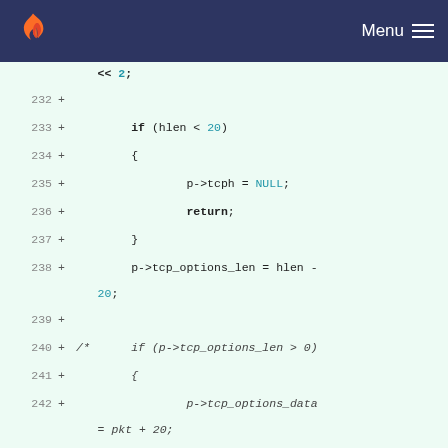GitLab navigation with Menu
[Figure (screenshot): GitLab code diff view showing lines 232-247 of a C source file with added lines (+) displaying TCP header parsing code]
<< 2;
232 +
233 +         if (hlen < 20)
234 +         {
235 +                 p->tcph = NULL;
236 +                 return;
237 +         }
238 +         p->tcp_options_len = hlen - 20;
239 +
240 + /*      if (p->tcp_options_len > 0)
241 +         {
242 +                 p->tcp_options_data = pkt + 20;
243 +                 DecodeTCPOptions ((unsigned char *) (pkt + 20),
244 +                                                             p->tcp_options_len, p, snaplen);
245 +         }
246 +         else
247 + */      {